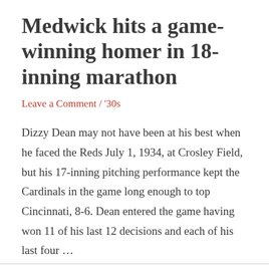Medwick hits a game-winning homer in 18-inning marathon
Leave a Comment / '30s
Dizzy Dean may not have been at his best when he faced the Reds July 1, 1934, at Crosley Field, but his 17-inning pitching performance kept the Cardinals in the game long enough to top Cincinnati, 8-6. Dean entered the game having won 11 of his last 12 decisions and each of his last four …
Read More »